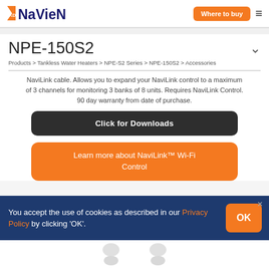Navien - Where to buy
NPE-150S2
Products > Tankless Water Heaters > NPE-S2 Series > NPE-150S2 > Accessories
NaviLink cable. Allows you to expand your NaviLink control to a maximum of 3 channels for monitoring 3 banks of 8 units. Requires NaviLink Control. 90 day warranty from date of purchase.
Click for Downloads
Learn more about NaviLink™ Wi-Fi Control
You accept the use of cookies as described in our Privacy Policy by clicking 'OK'.
[Figure (photo): Two white product components (cups/caps) shown at the bottom of the page]